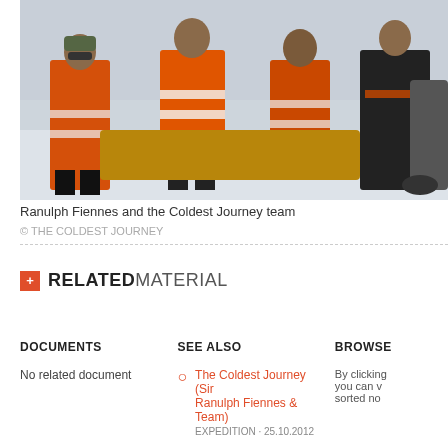[Figure (photo): Group photo of Ranulph Fiennes and the Coldest Journey team in orange high-visibility suits sitting and standing in a snowy environment]
Ranulph Fiennes and the Coldest Journey team
© THE COLDEST JOURNEY
+ RELATED MATERIAL
DOCUMENTS
No related document
SEE ALSO
The Coldest Journey (Sir Ranulph Fiennes & Team)
EXPEDITION · 25.10.2012
BROWSE